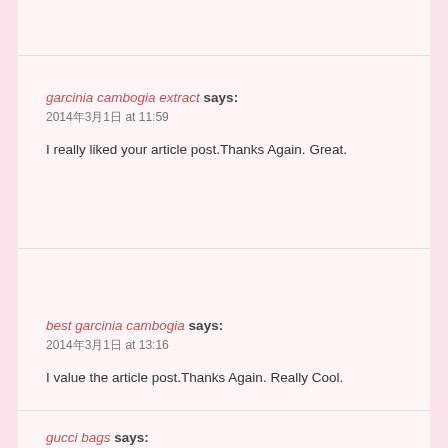garcinia cambogia extract says:
2014年3月1日 at 11:59
I really liked your article post.Thanks Again. Great.
best garcinia cambogia says:
2014年3月1日 at 13:16
I value the article post.Thanks Again. Really Cool.
gucci bags says: